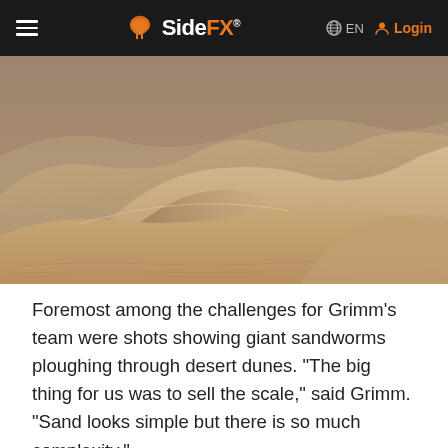SideFX  EN  Login
[Figure (photo): Close-up photograph of desert sand dunes with soft light, showing rippled sandy surfaces and larger dune formations in warm tan and brown tones.]
Foremost among the challenges for Grimm’s team were shots showing giant sandworms ploughing through desert dunes. “The big thing for us was to sell the scale,” said Grimm. “Sand looks simple but there is so much complexity.”
For most sandworm shots, the effects team began with a